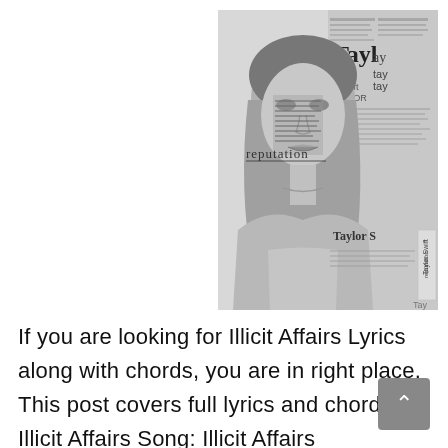[Figure (photo): Black and white album cover of Taylor Swift's 'Reputation' album. Shows Taylor Swift from torso up, with newspaper print overlaid on part of her face. The word 'reputation' appears in serif font to the left of her face. She wears a light grey top. Background is composed of newsprint/newspaper collage. Various text fragments visible including 'Taylor', 'tay', 'swift', 'Taylor Swift', 'reputation'.]
If you are looking for Illicit Affairs Lyrics along with chords, you are in right place. This post covers full lyrics and chords of Illicit Affairs Song: Illicit Affairs